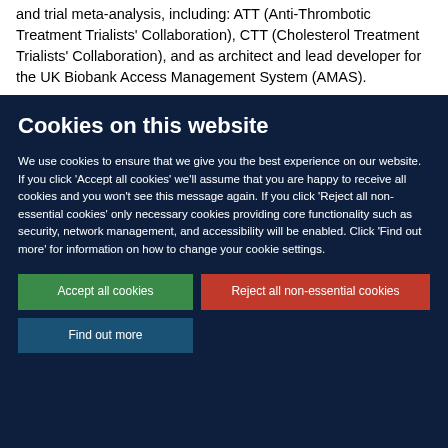and trial meta-analysis, including: ATT (Anti-Thrombotic Treatment Trialists' Collaboration), CTT (Cholesterol Treatment Trialists' Collaboration), and as architect and lead developer for the UK Biobank Access Management System (AMAS).
Cookies on this website
We use cookies to ensure that we give you the best experience on our website. If you click 'Accept all cookies' we'll assume that you are happy to receive all cookies and you won't see this message again. If you click 'Reject all non-essential cookies' only necessary cookies providing core functionality such as security, network management, and accessibility will be enabled. Click 'Find out more' for information on how to change your cookie settings.
Accept all cookies
Reject all non-essential cookies
Find out more